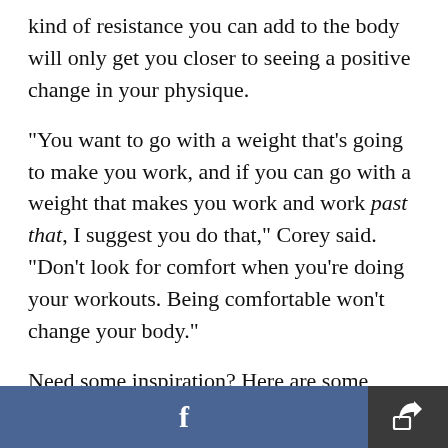kind of resistance you can add to the body will only get you closer to seeing a positive change in your physique.
"You want to go with a weight that's going to make you work, and if you can go with a weight that makes you work and work past that, I suggest you do that," Corey said. "Don't look for comfort when you're doing your workouts. Being comfortable won't change your body."
Need some inspiration? Here are some wildly effective lunge variations, many of which you can do in the comfort of your own home. And here are
[Figure (other): Bottom navigation bar with Facebook share button (blue) and a share/export button (dark grey)]